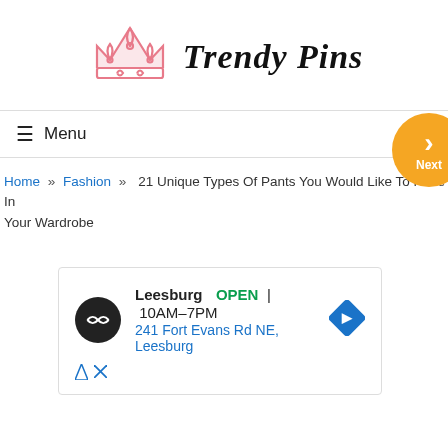[Figure (logo): Trendy Pins logo with pink crown SVG and black cursive text 'Trendy Pins']
≡ Menu
Home » Fashion » 21 Unique Types Of Pants You Would Like To Have In Your Wardrobe
[Figure (screenshot): Ad showing Leesburg OPEN 10AM–7PM, 241 Fort Evans Rd NE, Leesburg with navigation icon and ad labels]